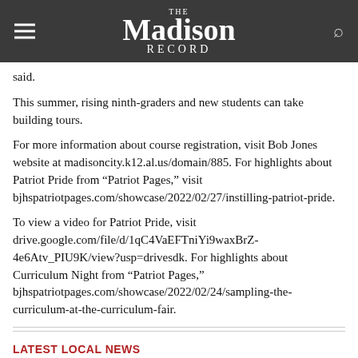The Madison Record
said.
This summer, rising ninth-graders and new students can take building tours.
For more information about course registration, visit Bob Jones website at madisoncity.k12.al.us/domain/885. For highlights about Patriot Pride from “Patriot Pages,” visit bjhspatriotpages.com/showcase/2022/02/27/instilling-patriot-pride.
To view a video for Patriot Pride, visit drive.google.com/file/d/1qC4VaEFTniYi9waxBrZ-4e6Atv_PIU9K/view?usp=drivesdk. For highlights about Curriculum Night from “Patriot Pages,” bjhspatriotpages.com/showcase/2022/02/24/sampling-the-curriculum-at-the-curriculum-fair.
LATEST LOCAL NEWS
Apply for Jane R. Parks Grant from Master Gardeners